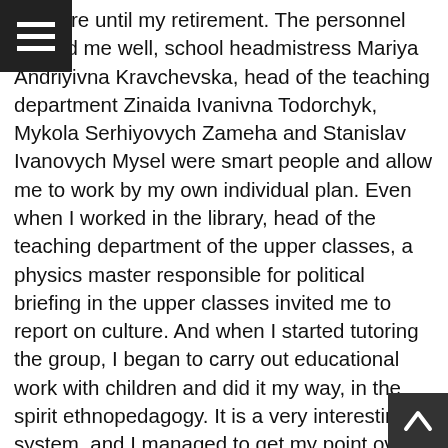be there until my retirement. The personnel treated me well, school headmistress Mariya Andriyivna Kravchevska, head of the teaching department Zinaida Ivanivna Todorchyk, Mykola Serhiyovych Zameha and Stanislav Ivanovych Mysel were smart people and allow me to work by my own individual plan. Even when I worked in the library, head of the teaching department of the upper classes, a physics master responsible for political briefing in the upper classes invited me to report on culture. And when I started tutoring the group, I began to carry out educational work with children and did it my way, in the spirit ethnopedagogy. It is a very interesting system, and I managed to get my point over to the school management. I divided the school year into natural and festal cycles including the anniversaries of great men: Shevchenko, Lesia Ukrayinka, and others. Together with children we read and sang. I taught them to sing vesniankas, Christmas carols, shchedrivkas, Kozak songs, and riflemen's songs. At the end of the year we arranged the Shevchenko Event. V.V.Ovsiyenko: Did you participate in public affairs, in perestroika? V.D.L...: Well, it depends. I didn't go at it tooth and n...